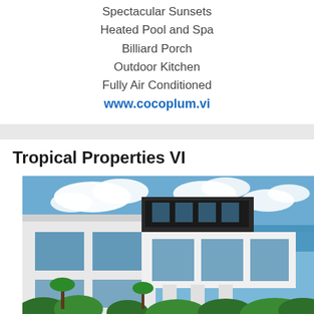Spectacular Sunsets
Heated Pool and Spa
Billiard Porch
Outdoor Kitchen
Fully Air Conditioned
www.cocoplum.vi
Tropical Properties VI
[Figure (photo): Modern white multi-story villa with large glass windows and balconies surrounded by tropical greenery, with blue sky and ocean visible in background]